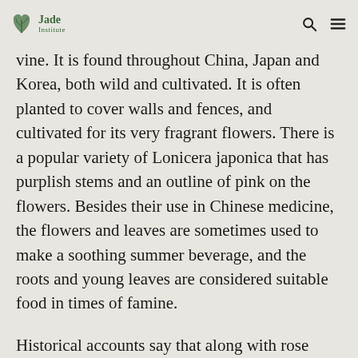Jade Institute
vine. It is found throughout China, Japan and Korea, both wild and cultivated. It is often planted to cover walls and fences, and cultivated for its very fragrant flowers. There is a popular variety of Lonicera japonica that has purplish stems and an outline of pink on the flowers. Besides their use in Chinese medicine, the flowers and leaves are sometimes used to make a soothing summer beverage, and the roots and young leaves are considered suitable food in times of famine.
Historical accounts say that along with rose petals, the Dowager Empress liked to add honeysuckle flowers to her tea. Her tea was served in a white jade cup with gold lid and saucer, along with two similar cups, one with rose petals and one with honeysuckle